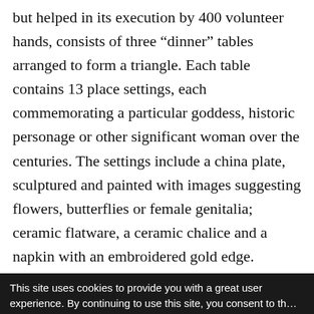but helped in its execution by 400 volunteer hands, consists of three “dinner” tables arranged to form a triangle. Each table contains 13 place settings, each commemorating a particular goddess, historic personage or other significant woman over the centuries. The settings include a china plate, sculptured and painted with images suggesting flowers, butterflies or female genitalia; ceramic flatware, a ceramic chalice and a napkin with an embroidered gold edge.

“The Dinner Party” has generated controversy
This site uses cookies to provide you with a great user experience. By continuing to use this site, you consent to the